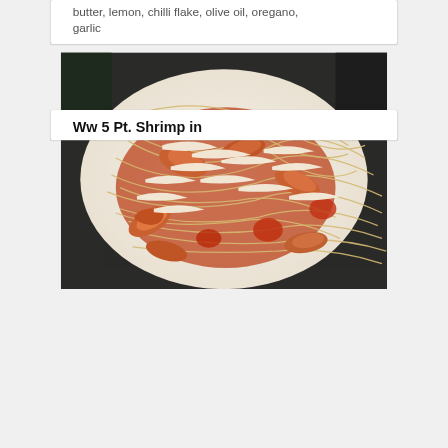butter, lemon, chilli flake, olive oil, oregano, garlic
[Figure (photo): A plate of shrimp pasta (spaghetti) with tomato sauce topped with shredded parmesan cheese, served in a white bowl.]
Ww 5 Pt. Shrimp in